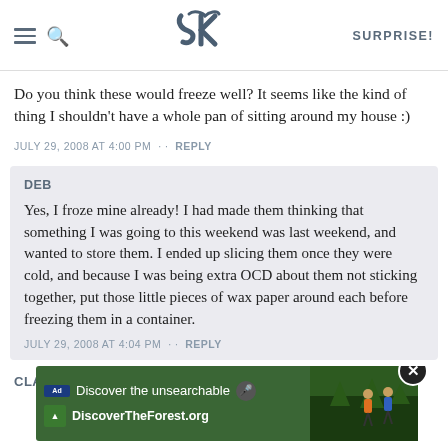SK — SURPRISE!
Do you think these would freeze well? It seems like the kind of thing I shouldn't have a whole pan of sitting around my house :)
JULY 29, 2008 AT 4:00 PM · · REPLY
DEB
Yes, I froze mine already! I had made them thinking that something I was going to this weekend was last weekend, and wanted to store them. I ended up slicing them once they were cold, and because I was being extra OCD about them not sticking together, put those little pieces of wax paper around each before freezing them in a container.
JULY 29, 2008 AT 4:04 PM · · REPLY
CLA
[Figure (screenshot): Advertisement banner: Discover the unsearchable — DiscoverTheForest.org with forest/people image and close button]